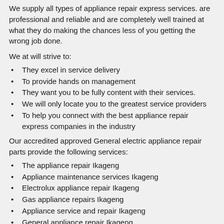We supply all types of appliance repair express services. are professional and reliable and are completely well trained at what they do making the chances less of you getting the wrong job done.
We at will strive to:
They excel in service delivery
To provide hands on management
They want you to be fully content with their services.
We will only locate you to the greatest service providers
To help you connect with the best appliance repair express companies in the industry
Our accredited approved General electric appliance repair parts provide the following services:
The appliance repair Ikageng
Appliance maintenance services Ikageng
Electrolux appliance repair Ikageng
Gas appliance repairs Ikageng
Appliance service and repair Ikageng
General appliance repair Ikageng
Appliance service center Ikageng
Appliance repair shop Ikageng
Appliances service & repair Ikageng
Ge appliances repairs Ikageng
Appliance repair and service Ikageng
Small appliance repair Ikageng